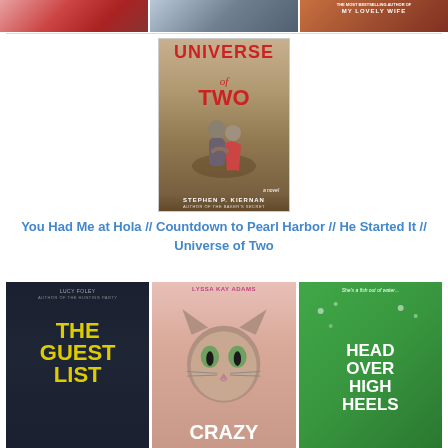[Figure (photo): Three book covers in a row at top: a red/pink cover, a dark cover, and a brown cover reading 'My Lovely Wife']
[Figure (photo): Book cover: Universe of Two by Stephen P. Kiernan — beige/brown background, red title text, couple sitting together]
You Had Me at Hola // Countdown to Pearl Harbor // He Started It // Universe of Two
[Figure (photo): Three book covers in bottom row: The Guest List by Lucy Foley, a cat book (Crazy), and Head Over High Heels (green cover)]